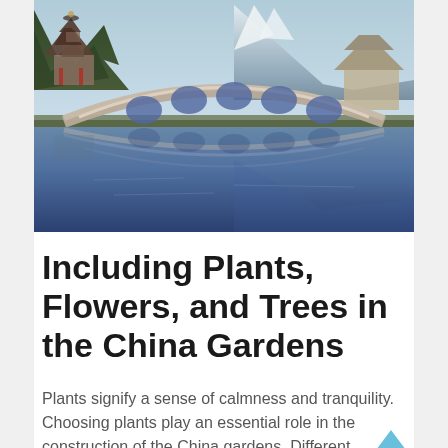[Figure (photo): Photograph of Black Dragon Pool in Lijiang, China, featuring a traditional Chinese arched stone bridge with multiple arches reflected in calm water, pagoda-style buildings, lush trees, and snow-capped Jade Dragon Snow Mountain in the background.]
Including Plants, Flowers, and Trees in the China Gardens
Plants signify a sense of calmness and tranquility. Choosing plants play an essential role in the construction of the China gardens. Different